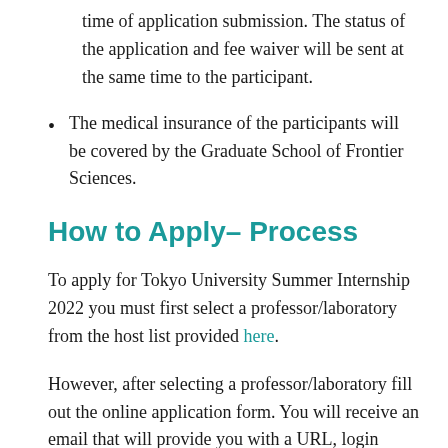time of application submission. The status of the application and fee waiver will be sent at the same time to the participant.
The medical insurance of the participants will be covered by the Graduate School of Frontier Sciences.
How to Apply– Process
To apply for Tokyo University Summer Internship 2022 you must first select a professor/laboratory from the host list provided here.
However, after selecting a professor/laboratory fill out the online application form. You will receive an email that will provide you with a URL, login username, and password. Submit the application